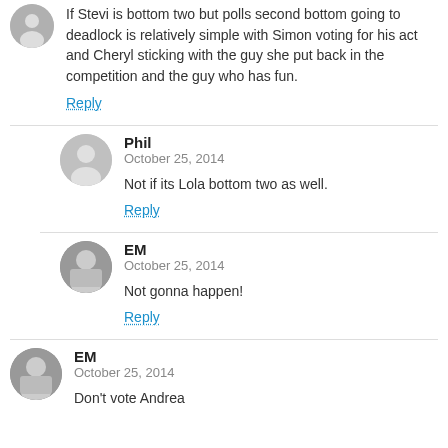If Stevi is bottom two but polls second bottom going to deadlock is relatively simple with Simon voting for his act and Cheryl sticking with the guy she put back in the competition and the guy who has fun.
Reply
Phil
October 25, 2014
Not if its Lola bottom two as well.
Reply
EM
October 25, 2014
Not gonna happen!
Reply
EM
October 25, 2014
Don't vote Andrea